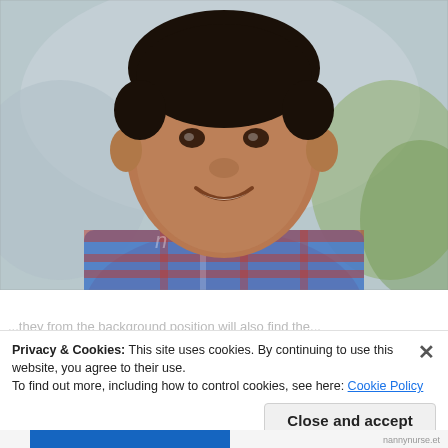[Figure (photo): Portrait photo of a smiling young boy wearing a blue and red plaid/checkered shirt, photographed outdoors with a blurred background. A faint watermark is visible in the lower left of the photo.]
Privacy & Cookies: This site uses cookies. By continuing to use this website, you agree to their use.
To find out more, including how to control cookies, see here: Cookie Policy
Close and accept